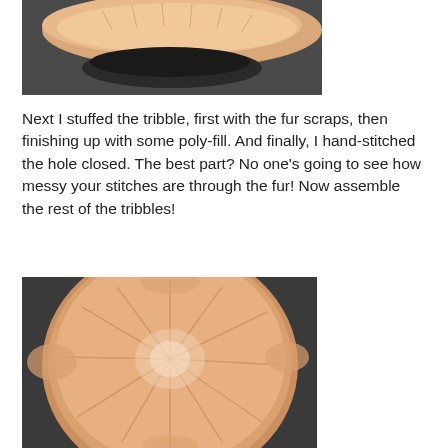[Figure (photo): Close-up photo of a peach/tan fluffy stuffed tribble showing the underside or seam area, on a dark gray surface.]
Next I stuffed the tribble, first with the fur scraps, then finishing up with some poly-fill. And finally, I hand-stitched the hole closed. The best part? No one's going to see how messy your stitches are through the fur! Now assemble the rest of the tribbles!
[Figure (photo): A completed fluffy peach/tan tribble (round furry ball) viewed from above, showing the soft long fur texture on a dark background.]